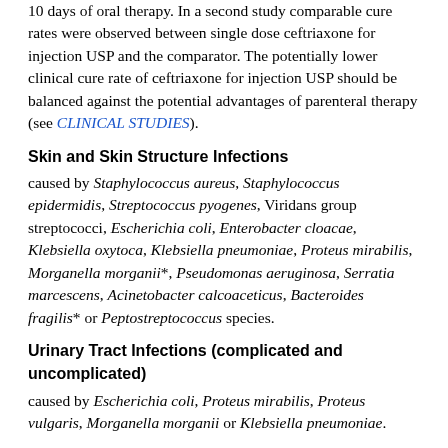10 days of oral therapy. In a second study comparable cure rates were observed between single dose ceftriaxone for injection USP and the comparator. The potentially lower clinical cure rate of ceftriaxone for injection USP should be balanced against the potential advantages of parenteral therapy (see CLINICAL STUDIES).
Skin and Skin Structure Infections
caused by Staphylococcus aureus, Staphylococcus epidermidis, Streptococcus pyogenes, Viridans group streptococci, Escherichia coli, Enterobacter cloacae, Klebsiella oxytoca, Klebsiella pneumoniae, Proteus mirabilis, Morganella morganii*, Pseudomonas aeruginosa, Serratia marcescens, Acinetobacter calcoaceticus, Bacteroides fragilis* or Peptostreptococcus species.
Urinary Tract Infections (complicated and uncomplicated)
caused by Escherichia coli, Proteus mirabilis, Proteus vulgaris, Morganella morganii or Klebsiella pneumoniae.
Uncomplicated Gonorrhea (cervical/urethral and rectal)
caused by Neisseria gonorrhoeae, including both penicillinase-and nonpenicillinase-producing strains, and pharyngeal gonorrhea caused by nonpenicillinase-producing strains of Neisseria gonorrhoeae.